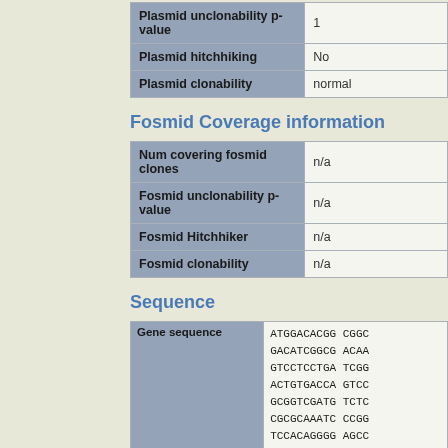| Field | Value |
| --- | --- |
| Plasmid unclonability p-value | 1 |
| Plasmid hitchhiking | No |
| Plasmid clonability | normal |
Fosmid Coverage information
| Field | Value |
| --- | --- |
| Num covering fosmid clones | n/a |
| Fosmid unclonability p-value | n/a |
| Fosmid Hitchhiker | n/a |
| Fosmid clonability | n/a |
Sequence
| Gene sequence |  |
| --- | --- |
|  | ATGGACACGG CGGC
GACATCGGCG ACAA
GTCCTCCTGA TCGG
ACTGTGACCA GTCC
GCGGTCGATG TCTC
CGCGCAAATG CCGG
TCCACAGGGG AGCC
GTCACCCGAG GTCA
GACTGGAAGG AGTT |